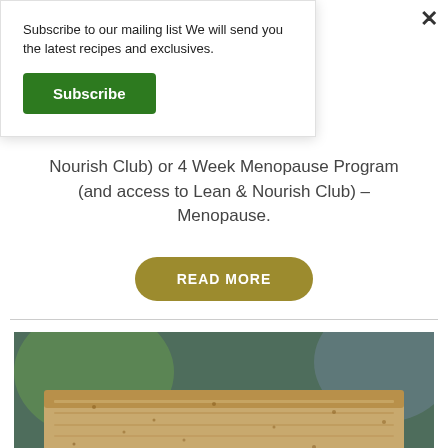Subscribe to our mailing list We will send you the latest recipes and exclusives.
Subscribe
Nourish Club) or 4 Week Menopause Program (and access to Lean & Nourish Club) – Menopause.
READ MORE
[Figure (photo): Close-up photo of a wholegrain bread slice on a dark background with blurred green and grey objects behind it]